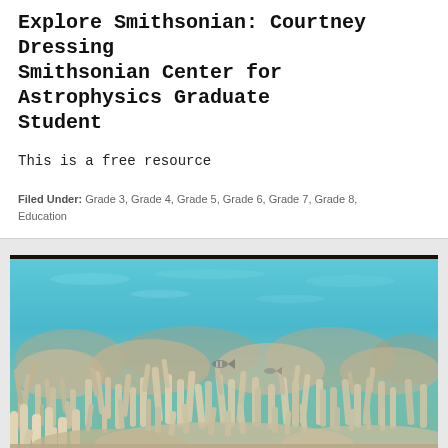Explore Smithsonian: Courtney Dressing Smithsonian Center for Astrophysics Graduate Student
This is a free resource
Filed Under: Grade 3, Grade 4, Grade 5, Grade 6, Grade 7, Grade 8, Education
[Figure (photo): Underwater photograph showing a coral reef with bleached or pale coral formations in shallow turquoise water, with fish visible among the coral branches.]